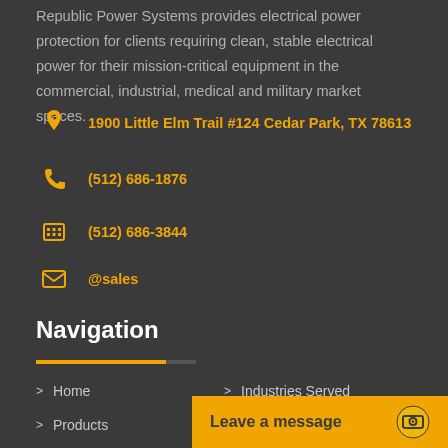Republic Power Systems provides electrical power protection for clients requiring clean, stable electrical power for their mission-critical equipment in the commercial, industrial, medical and military market spaces.
1900 Little Elm Trail #124 Cedar Park, TX 78613
(512) 686-1876
(512) 686-3844
@sales
Navigation
Home
Industries Served
Products
Customs
About
Leave a message